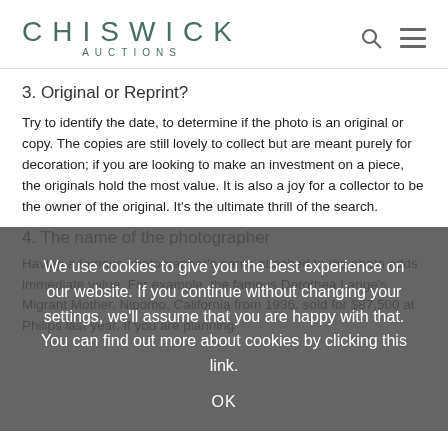[Figure (logo): Chiswick Auctions logo with search and menu icons]
3. Original or Reprint?
Try to identify the date, to determine if the photo is an original or copy. The copies are still lovely to collect but are meant purely for decoration; if you are looking to make an investment on a piece, the originals hold the most value. It is also a joy for a collector to be the owner of the original. It's the ultimate thrill of the search.
4. The name of the photographer
Having a famous photographer's name attached to the photo adds immediate value. For example, the famous Dorothea Lange's Migrant Mother, Nipomo, California from 1936, sold for $87,500 at Philips last year. If you are planning
We use cookies to give you the best experience on our website. If you continue without changing your settings, we'll assume that you are happy with that. You can find out more about cookies by clicking this link.
OK